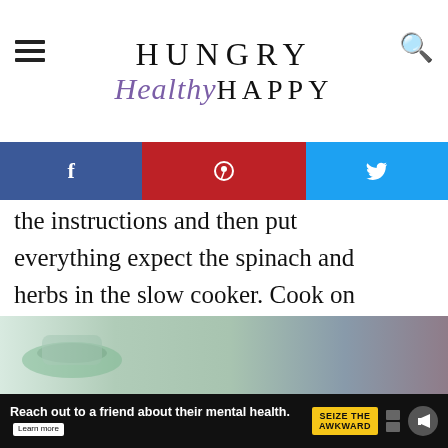Hungry Healthy Happy
[Figure (infographic): Social sharing bar with Facebook (blue), Pinterest (red), and Twitter (light blue) icons]
the instructions and then put everything expect the spinach and herbs in the slow cooker. Cook on high for 2 and a half hours. 30 minutes before serving, stir in the spinach and coriander.
[Figure (infographic): Heart/save button with purple background and share icon, showing 32K count]
WHAT'S NEXT → Slow Cooker Beef Curry
[Figure (photo): Food photo strip at bottom showing dishes with greens]
[Figure (infographic): Advertisement bar: Reach out to a friend about their mental health. Learn more. SEIZE THE AWKWARD badge.]